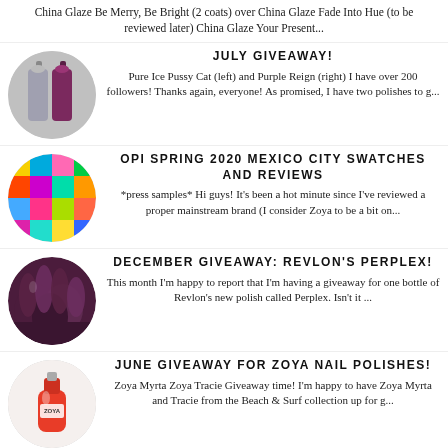China Glaze Be Merry, Be Bright (2 coats) over China Glaze Fade Into Hue (to be reviewed later) China Glaze Your Present...
JULY GIVEAWAY!
Pure Ice Pussy Cat (left) and Purple Reign (right) I have over 200 followers! Thanks again, everyone! As promised, I have two polishes to g...
[Figure (photo): Circular thumbnail of two nail polish bottles, silver and purple/glitter]
OPI SPRING 2020 MEXICO CITY SWATCHES AND REVIEWS
*press samples* Hi guys! It's been a hot minute since I've reviewed a proper mainstream brand (I consider Zoya to be a bit on...
[Figure (photo): Circular thumbnail of colorful nail swatches on fingers]
DECEMBER GIVEAWAY: REVLON'S PERPLEX!
This month I'm happy to report that I'm having a giveaway for one bottle of Revlon's new polish called Perplex. Isn't it ...
[Figure (photo): Circular thumbnail of dark purple nail polish on fingers]
JUNE GIVEAWAY FOR ZOYA NAIL POLISHES!
Zoya Myrta Zoya Tracie Giveaway time! I'm happy to have Zoya Myrta and Tracie from the Beach & Surf collection up for g...
[Figure (photo): Circular thumbnail of a red Zoya nail polish bottle]